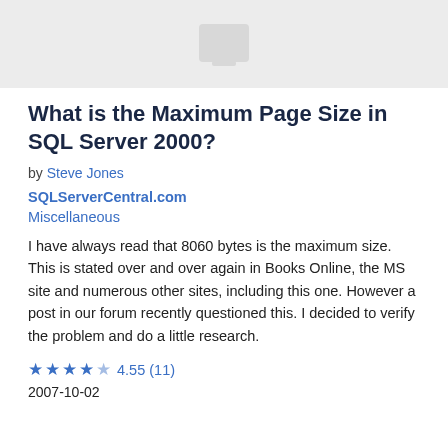[Figure (illustration): Gray hero image placeholder at top of page]
What is the Maximum Page Size in SQL Server 2000?
by Steve Jones
SQLServerCentral.com
Miscellaneous
I have always read that 8060 bytes is the maximum size. This is stated over and over again in Books Online, the MS site and numerous other sites, including this one. However a post in our forum recently questioned this. I decided to verify the problem and do a little research.
★★★★☆ 4.55 (11)
2007-10-02